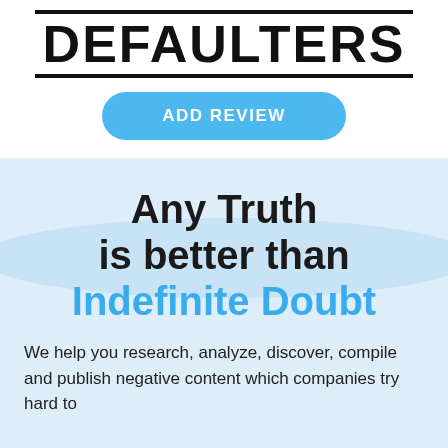DEFAULTERS
ADD REVIEW
Any Truth is better than Indefinite Doubt
We help you research, analyze, discover, compile and publish negative content which companies try hard to